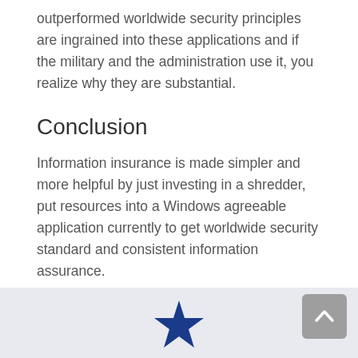outperformed worldwide security principles are ingrained into these applications and if the military and the administration use it, you realize why they are substantial.
Conclusion
Information insurance is made simpler and more helpful by just investing in a shredder, put resources into a Windows agreeable application currently to get worldwide security standard and consistent information assurance.
[Figure (logo): A blue star icon/logo in the footer area]